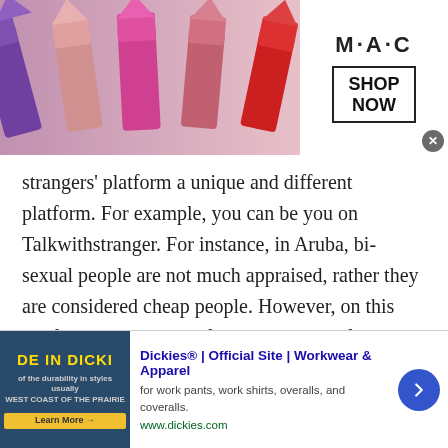[Figure (screenshot): MAC cosmetics advertisement banner at top with lipsticks on left, MAC logo and 'SHOP NOW' box on right, close X button]
strangers' platform a unique and different platform. For example, you can be you on Talkwithstranger. For instance, in Aruba, bi-sexual people are not much appraised, rather they are considered cheap people. However, on this platform, these kinds of people can also feel loved. Since there are people from all around the world that are present on Aruban chat sites to chat with the people of Aruba. Some of the reasons that make this platform different are explained below.
[Figure (screenshot): Dickies official site advertisement at the bottom with workwear image on left, ad text in middle, and blue arrow button on right]